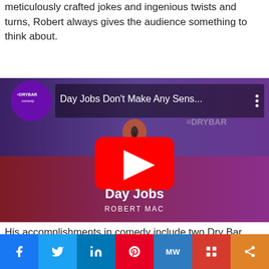meticulously crafted jokes and ingenious twists and turns, Robert always gives the audience something to think about.
[Figure (screenshot): YouTube video thumbnail showing a comedian on stage with a microphone. Title reads 'Day Jobs Don't Make Any Sens...' with Dry Bar Comedy branding. Large red YouTube play button in center. Bottom text shows 'Day Jobs' and 'ROBERT MAC'.]
His accomplishments in comedy include two Dry Bar Specials, Grand Prize Winner, Entertainment Business Journal Top 100 Comics, Comedy Central's Laugh Riots, and much more.
[Figure (infographic): Social media share bar with buttons for Facebook, Twitter, LinkedIn, Pinterest, MeWe, Mix, and share icon.]